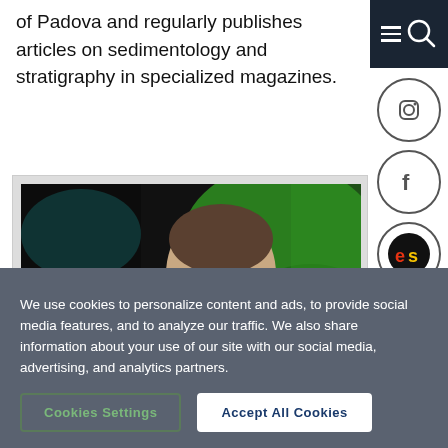of Padova and regularly publishes articles on sedimentology and stratigraphy in specialized magazines.
[Figure (photo): A middle-aged man with glasses adjusting them with his hand, photographed against a green and dark background, appearing to be on a TV set.]
We use cookies to personalize content and ads, to provide social media features, and to analyze our traffic. We also share information about your use of our site with our social media, advertising, and analytics partners.